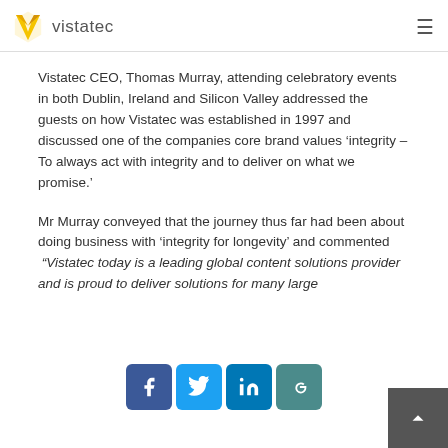vistatec
Vistatec CEO, Thomas Murray, attending celebratory events in both Dublin, Ireland and Silicon Valley addressed the guests on how Vistatec was established in 1997 and discussed one of the companies core brand values ‘integrity – To always act with integrity and to deliver on what we promise.’
Mr Murray conveyed that the journey thus far had been about doing business with ‘integrity for longevity’ and commented “Vistatec today is a leading global content solutions provider and is proud to deliver solutions for many large clients around the world.”